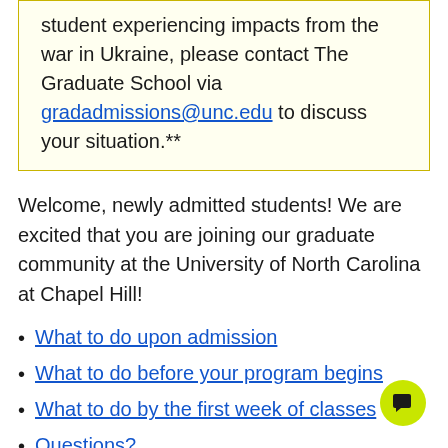student experiencing impacts from the war in Ukraine, please contact The Graduate School via gradadmissions@unc.edu to discuss your situation.**
Welcome, newly admitted students! We are excited that you are joining our graduate community at the University of North Carolina at Chapel Hill!
What to do upon admission
What to do before your program begins
What to do by the first week of classes
Questions?